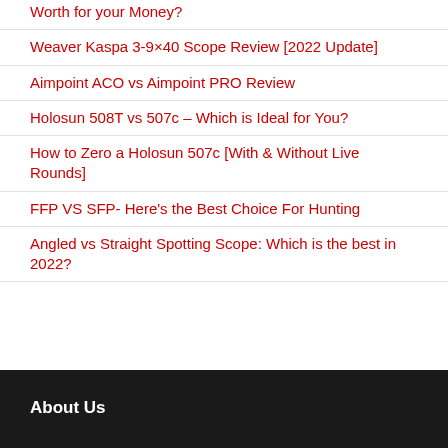Worth for your Money?
Weaver Kaspa 3-9×40 Scope Review [2022 Update]
Aimpoint ACO vs Aimpoint PRO Review
Holosun 508T vs 507c – Which is Ideal for You?
How to Zero a Holosun 507c [With & Without Live Rounds]
FFP VS SFP- Here's the Best Choice For Hunting
Angled vs Straight Spotting Scope: Which is the best in 2022?
About Us